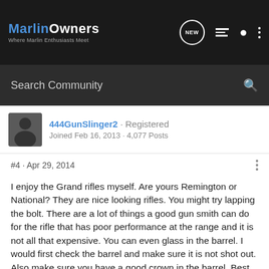MarlinOwners · Where Marlin Enthusiasts Meet
Search Community
444GunSlinger2 · Registered
Joined Feb 16, 2013 · 4,077 Posts
#4 · Apr 29, 2014
I enjoy the Grand rifles myself. Are yours Remington or National? They are nice looking rifles. You might try lapping the bolt. There are a lot of things a good gun smith can do for the rifle that has poor performance at the range and it is not all that expensive. You can even glass in the barrel. I would first check the barrel and make sure it is not shot out. Also make sure you have a good crown in the barrel. Best of luck to you.

Enjoy the Journey
444GS2